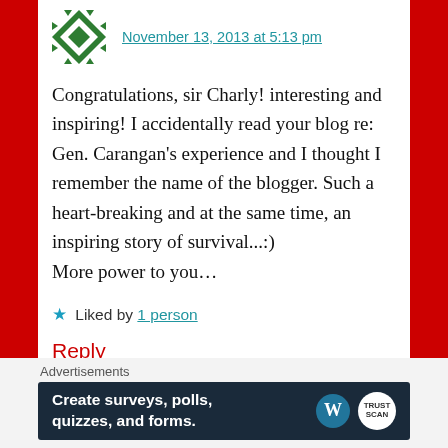November 13, 2013 at 5:13 pm
Congratulations, sir Charly! interesting and inspiring! I accidentally read your blog re: Gen. Carangan's experience and I thought I remember the name of the blogger. Such a heart-breaking and at the same time, an inspiring story of survival...:)
More power to you...
★ Liked by 1 person
Reply
Advertisements
[Figure (screenshot): Advertisement banner: Create surveys, polls, quizzes, and forms. With WordPress and TrustScan logos.]